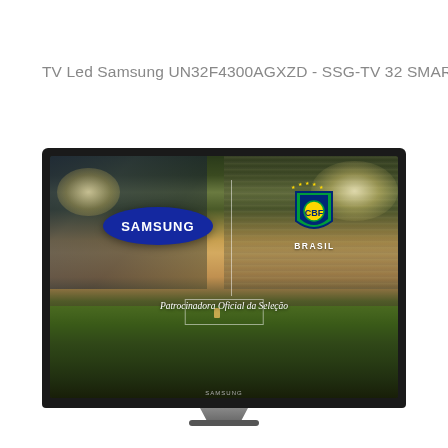TV Led Samsung UN32F4300AGXZD - SSG-TV 32 SMART HD
[Figure (photo): Samsung UN32F4300AGXZD 32-inch Smart HD LED TV. The TV screen shows the Samsung logo on a blue oval on the left side, a vertical white divider line, and the CBF (Confederação Brasileira de Futebol) badge on the right with stars and 'BRASIL' text. Below reads 'Patrocinadora Oficial da Seleção' (Official Sponsor of the National Team) in italic text, with a stadium background showing a football field with a player taking a kick. The TV has a dark bezel with a stand.]